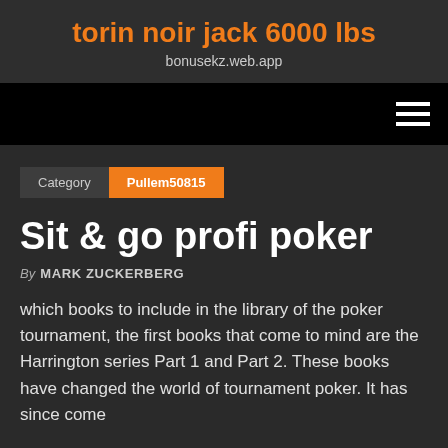torin noir jack 6000 lbs
bonusekz.web.app
Category  Pullem50815
Sit & go profi poker
By MARK ZUCKERBERG
which books to include in the library of the poker tournament, the first books that come to mind are the Harrington series Part 1 and Part 2. These books have changed the world of tournament poker. It has since come